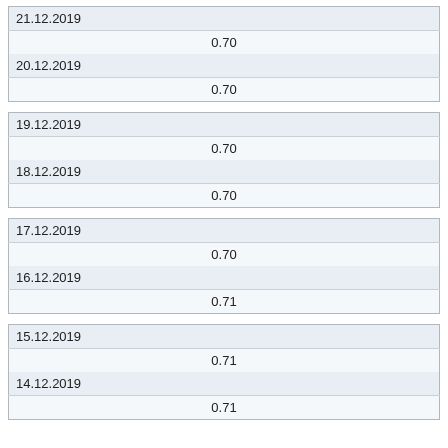| 21.12.2019 |
| 0.70 |
| 20.12.2019 |
| 0.70 |
| 19.12.2019 |
| 0.70 |
| 18.12.2019 |
| 0.70 |
| 17.12.2019 |
| 0.70 |
| 16.12.2019 |
| 0.71 |
| 15.12.2019 |
| 0.71 |
| 14.12.2019 |
| 0.71 |